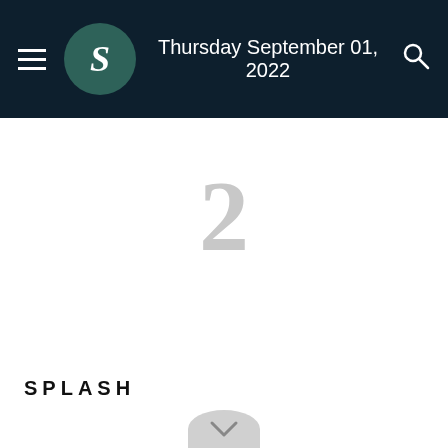Thursday September 01, 2022
2
SPLASH